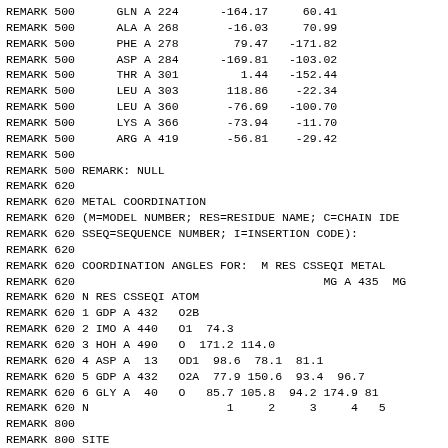REMARK 500      GLN A 224      -164.17     60.41
REMARK 500      ALA A 268       -16.03     70.99
REMARK 500      PHE A 278        79.47   -171.82
REMARK 500      ASP A 284      -169.81   -103.02
REMARK 500      THR A 301         1.44   -152.44
REMARK 500      LEU A 303       118.86    -22.34
REMARK 500      LEU A 360       -76.69   -100.70
REMARK 500      LYS A 366       -73.94    -11.70
REMARK 500      ARG A 419       -56.81    -29.42
REMARK 500
REMARK 500 REMARK: NULL
REMARK 620
REMARK 620 METAL COORDINATION
REMARK 620 (M=MODEL NUMBER; RES=RESIDUE NAME; C=CHAIN IDE
REMARK 620 SSEQ=SEQUENCE NUMBER; I=INSERTION CODE):
REMARK 620
REMARK 620 COORDINATION ANGLES FOR:  M RES CSSEQI METAL
REMARK 620                                    MG A 435  MG
REMARK 620 N RES CSSEQI ATOM
REMARK 620 1 GDP A 432   O2B
REMARK 620 2 IMO A 440   O1  74.3
REMARK 620 3 HOH A 490   O  171.2 114.0
REMARK 620 4 ASP A  13   OD1  98.6  78.1  81.1
REMARK 620 5 GDP A 432   O2A  77.9 150.6  93.4  96.7
REMARK 620 6 GLY A  40   O   85.7 105.8  94.2 174.9 81
REMARK 620 N                    1     2     3     4   5
REMARK 800
REMARK 800 SITE
REMARK 800 SITE_IDENTIFIER: AC1
REMARK 800 EVIDENCE_CODE: SOFTWARE